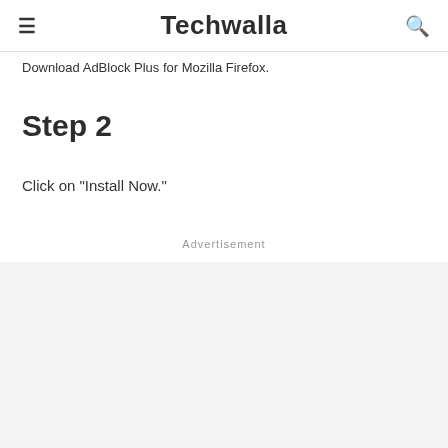Techwalla
Download AdBlock Plus for Mozilla Firefox.
Step 2
Click on "Install Now."
Advertisement